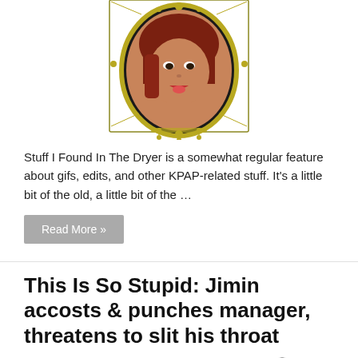[Figure (photo): Portrait photo of a woman with red/auburn hair in a decorative gold oval mirror frame on white background]
Stuff I Found In The Dryer is a somewhat regular feature about gifs, edits, and other KPAP-related stuff. It's a little bit of the old, a little bit of the …
Read More »
This Is So Stupid: Jimin accosts & punches manager, threatens to slit his throat
IATFB   11/16/2015   K-Entertainment   0 Comments
[Figure (photo): Dark image with a faint figure, appears to be a concert or performance scene]